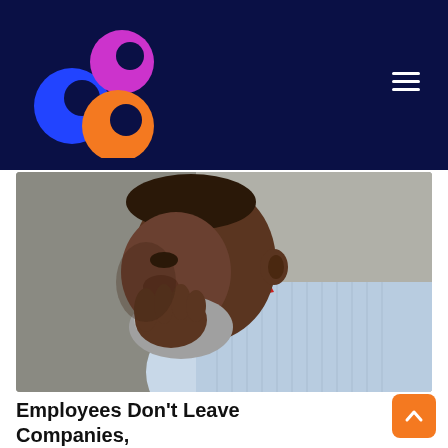[Figure (logo): Three overlapping circles logo: blue circle (left), magenta/purple circle (top right), orange circle (bottom center), on dark navy background]
[Figure (photo): A middle-aged Black man with a grey beard, wearing a light blue striped shirt and red pocket square, resting his chin on his hand in a thoughtful or worried pose, photographed from the side against a blurred grey background]
Employees Don't Leave Companies, They Leave Managers